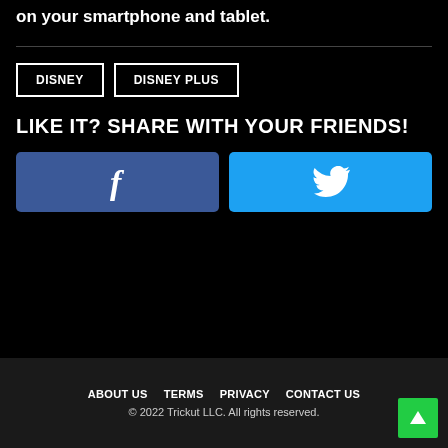to download the Disney Plus app to stream on your smartphone and tablet.
DISNEY
DISNEY PLUS
LIKE IT? SHARE WITH YOUR FRIENDS!
[Figure (other): Facebook share button with white 'f' icon on dark blue background]
[Figure (other): Twitter share button with white bird icon on cyan/light blue background]
ABOUT US  TERMS  PRIVACY  CONTACT US
© 2022 Trickut LLC. All rights reserved.